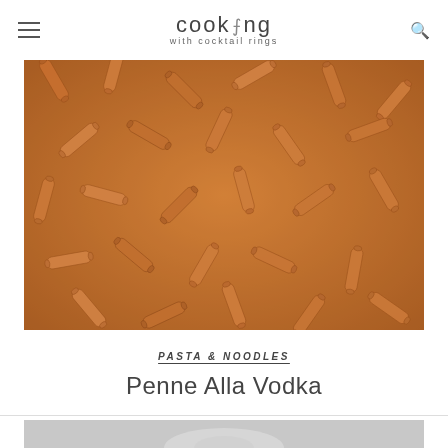cooking with cocktail rings
[Figure (photo): Close-up overhead photo of penne pasta coated in a creamy orange-red vodka sauce]
PASTA & NOODLES
Penne Alla Vodka
[Figure (photo): Partially visible food photo at bottom of page, appears to show ingredients or prepared dish in grayscale/light tones]